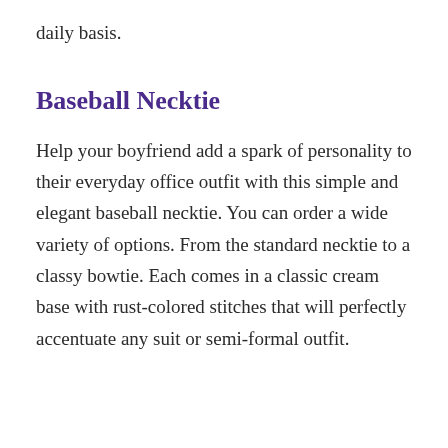daily basis.
Baseball Necktie
Help your boyfriend add a spark of personality to their everyday office outfit with this simple and elegant baseball necktie. You can order a wide variety of options. From the standard necktie to a classy bowtie. Each comes in a classic cream base with rust-colored stitches that will perfectly accentuate any suit or semi-formal outfit.